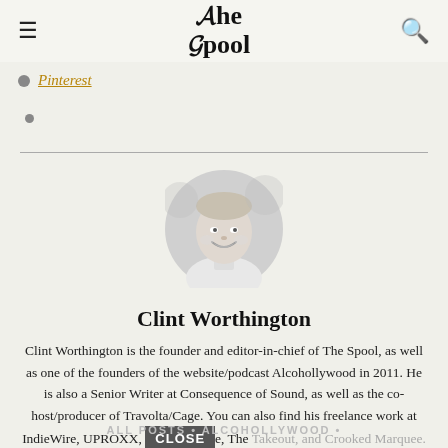The Spool
Pinterest
[Figure (photo): Circular black-and-white headshot portrait of Clint Worthington, a smiling man in a white shirt]
Clint Worthington
Clint Worthington is the founder and editor-in-chief of The Spool, as well as one of the founders of the website/podcast Alcohollywood in 2011. He is also a Senior Writer at Consequence of Sound, as well as the co-host/producer of Travolta/Cage. You can also find his freelance work at IndieWire, UPROXX, [CLOSE] e, The Takeout, and Crooked Marquee.
ALL POSTS • ALCOHOLLYWOOD •